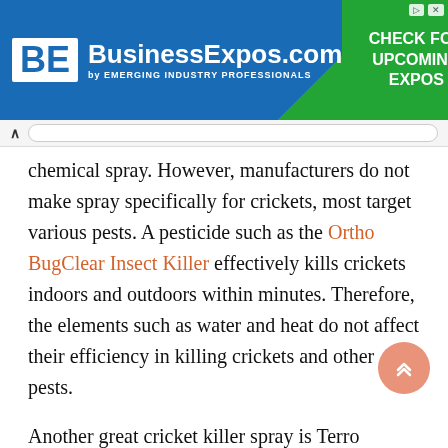[Figure (screenshot): BusinessExpos.com advertisement banner with blue and green background. Left side shows BE logo and brand name with tagline 'by EMERGING INDUSTRY PROFESSIONALS'. Right green section reads 'CHECK FOR UPCOMING EXPOS'.]
chemical spray. However, manufacturers do not make spray specifically for crickets, most target various pests. A pesticide such as the Ortho BugClear Insect Killer effectively kills crickets indoors and outdoors within minutes. Therefore, the elements such as water and heat do not affect their efficiency in killing crickets and other pests.
Another great cricket killer spray is Terro T2302, which kills crickets instantly and has a long-lasting residual control. Spray it in crevices, around the garage doorway, under carpets and furniture, then repeat after four weeks if re-infestation occurs, but do not apply more than once